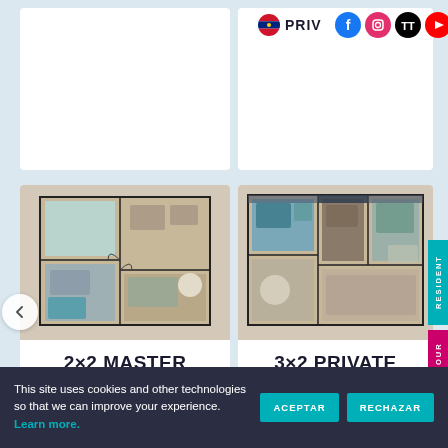[Figure (screenshot): Top portion of two apartment listing cards (cropped), with PRIV... text and social media icons (Facebook, Instagram, TikTok, YouTube) visible at top]
[Figure (illustration): Floor plan image for 2x2 Master apartment unit showing room layout with furniture]
2×2 MASTER
[Figure (illustration): Floor plan image for 3x2 Private apartment unit showing room layout with furniture]
3×2 PRIVATE
RESIDENT
VIRTUAL TOUR
This site uses cookies and other technologies so that we can improve your experience. Learn more.